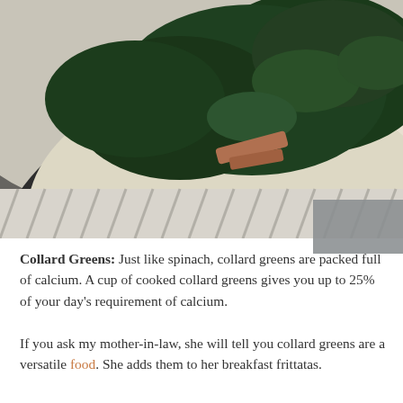[Figure (photo): Close-up photo of a dark bowl containing cooked collard greens with bacon pieces, served over what appears to be grits or a creamy base, placed on a striped cloth napkin.]
Collard Greens: Just like spinach, collard greens are packed full of calcium. A cup of cooked collard greens gives you up to 25% of your day's requirement of calcium.
If you ask my mother-in-law, she will tell you collard greens are a versatile food. She adds them to her breakfast frittatas.